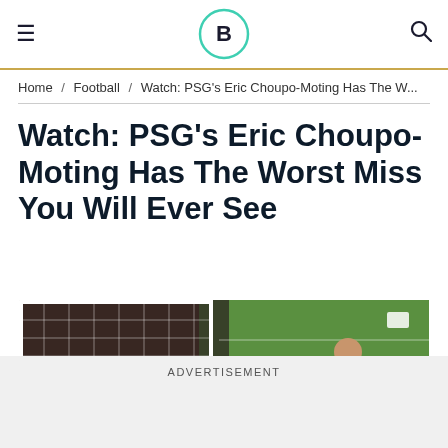Bleacher Report logo, hamburger menu, search icon
Home / Football / Watch: PSG's Eric Choupo-Moting Has The W...
Watch: PSG's Eric Choupo-Moting Has The Worst Miss You Will Ever See
[Figure (photo): Screenshot from a football/soccer video showing a goal net on the left and a player in a dark PSG kit on the right, with green pitch background]
ADVERTISEMENT